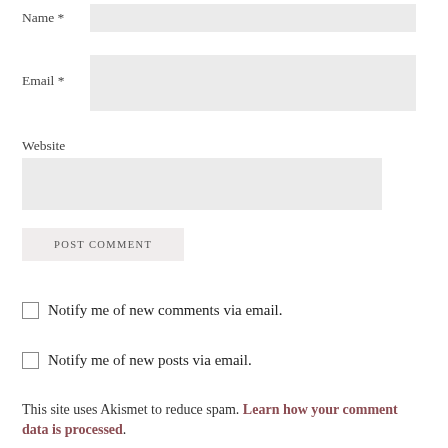Name *
Email *
Website
POST COMMENT
Notify me of new comments via email.
Notify me of new posts via email.
This site uses Akismet to reduce spam. Learn how your comment data is processed.